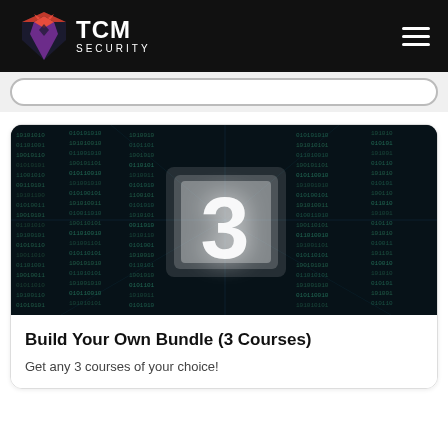TCM SECURITY
[Figure (screenshot): TCM Security website screenshot showing a course bundle card with a binary/matrix themed banner image displaying a large glowing number 3, followed by the title 'Build Your Own Bundle (3 Courses)' and subtitle 'Get any 3 courses of your choice!']
Build Your Own Bundle (3 Courses)
Get any 3 courses of your choice!